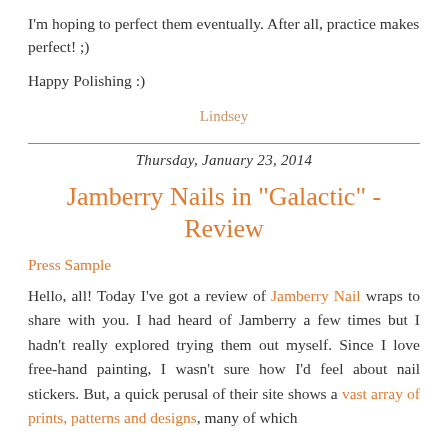I'm hoping to perfect them eventually. After all, practice makes perfect! ;)
Happy Polishing :)
Lindsey
Thursday, January 23, 2014
Jamberry Nails in "Galactic" - Review
Press Sample
Hello, all! Today I've got a review of Jamberry Nail wraps to share with you. I had heard of Jamberry a few times but I hadn't really explored trying them out myself. Since I love free-hand painting, I wasn't sure how I'd feel about nail stickers. But, a quick perusal of their site shows a vast array of prints, patterns and designs, many of which would be incredibly difficult to attempt free-hand. I also